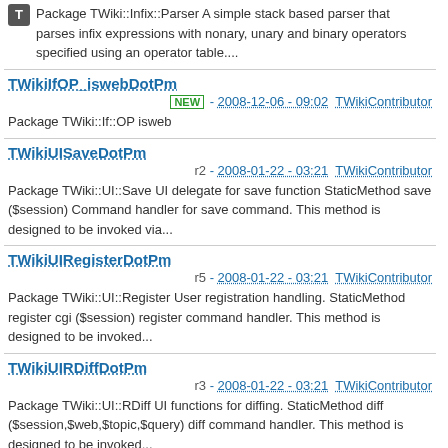Package TWiki::Infix::Parser A simple stack based parser that parses infix expressions with nonary, unary and binary operators specified using an operator table....
TWikiIfOP_iswebDotPm
NEW - 2008-12-06 - 09:02  TWikiContributor
Package TWiki::If::OP isweb
TWikiUISaveDotPm
r2 - 2008-01-22 - 03:21  TWikiContributor
Package TWiki::UI::Save UI delegate for save function StaticMethod save ($session) Command handler for save command. This method is designed to be invoked via...
TWikiUIRegisterDotPm
r5 - 2008-01-22 - 03:21  TWikiContributor
Package TWiki::UI::Register User registration handling. StaticMethod register cgi ($session) register command handler. This method is designed to be invoked...
TWikiUIRDiffDotPm
r3 - 2008-01-22 - 03:21  TWikiContributor
Package TWiki::UI::RDiff UI functions for diffing. StaticMethod diff ($session,$web,$topic,$query) diff command handler. This method is designed to be invoked...
TWikiIfParserDotPm
NEW - 2008-01-22 - 03:21  TWikiContributor